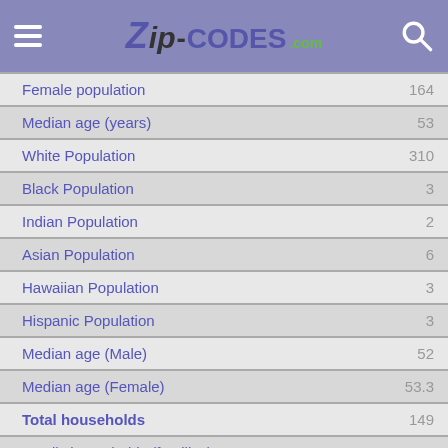Zip-Codes.com
| Category | Value |
| --- | --- |
| Female population | 164 |
| Median age (years) | 53 |
| White Population | 310 |
| Black Population | 3 |
| Indian Population | 2 |
| Asian Population | 6 |
| Hawaiian Population | 3 |
| Hispanic Population | 3 |
| Median age (Male) | 52 |
| Median age (Female) | 53.3 |
| Total households | 149 |
| Family households (families) | 88 |